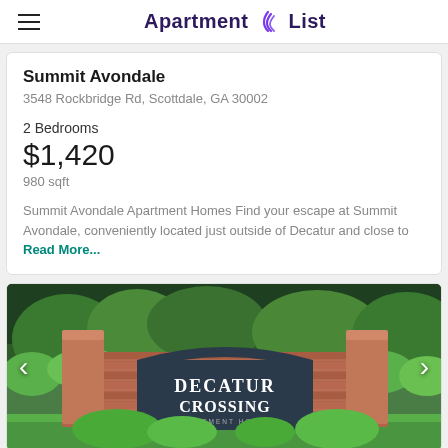Apartment List
Summit Avondale
3548 Rockbridge Rd, Scottdale, GA 30002
2 Bedrooms
$1,420
980 sqft
Summit Avondale Apartment Homes Find your escape at Summit Avondale, conveniently located just outside of Decatur and close to Read More...
[Figure (photo): Entrance sign for Decatur Crossing apartment homes, brick wall with dark arched sign reading DECATUR CROSSING, surrounded by green trees and shrubs, with left and right navigation arrows.]